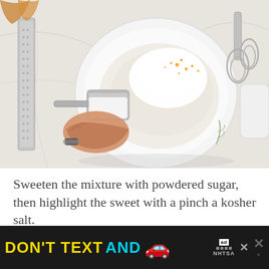[Figure (photo): Overhead view of a white mixing bowl with cream cheese and powdered sugar being added from a metal measuring cup scoop, with orange zest visible. A hand holds the scoop. A grater is on the left and electric mixer beaters are on the right. White marble surface background.]
Sweeten the mixture with powdered sugar, then highlight the sweet with a pinch a kosher salt.
[Figure (other): Advertisement banner: dark background with yellow text 'DON'T TEXT' and cyan text 'AND' followed by a red car emoji, an ad badge with 'ad' and 'NHTSA' label, an X close button, and a cross/icon on the right.]